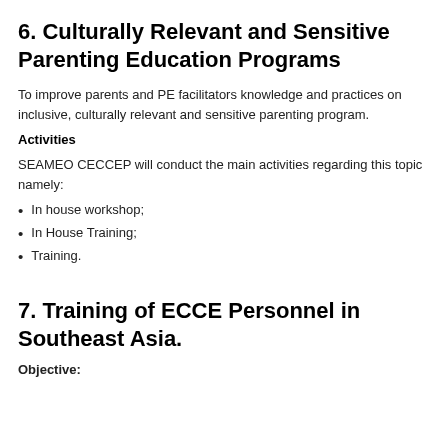6. Culturally Relevant and Sensitive Parenting Education Programs
To improve parents and PE facilitators knowledge and practices on inclusive, culturally relevant and sensitive parenting program.
Activities
SEAMEO CECCEP will conduct the main activities regarding this topic namely:
In house workshop;
In House Training;
Training.
7. Training of ECCE Personnel in Southeast Asia.
Objective: